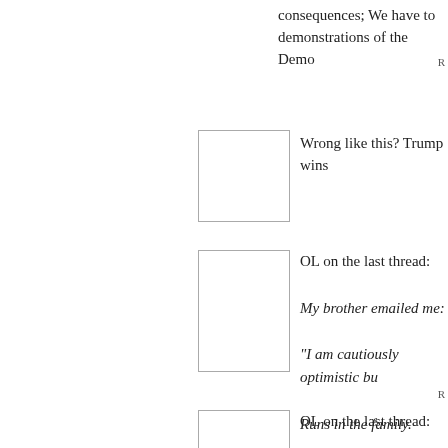consequences; We have to demonstrations of the Demo
Wrong like this? Trump wins
OL on the last thread:
My brother emailed me:
"I am cautiously optimistic bu
Runs in the family.
Mine too, but in every single might win. (Not my current fa board, but the ones I grew up
OL on the last thread:
My brother emailed me: